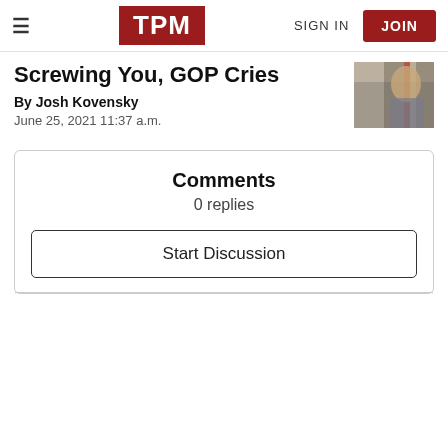TPM | SIGN IN | JOIN
Screwing You, GOP Cries
By Josh Kovensky
June 25, 2021 11:37 a.m.
Comments
0 replies
Start Discussion